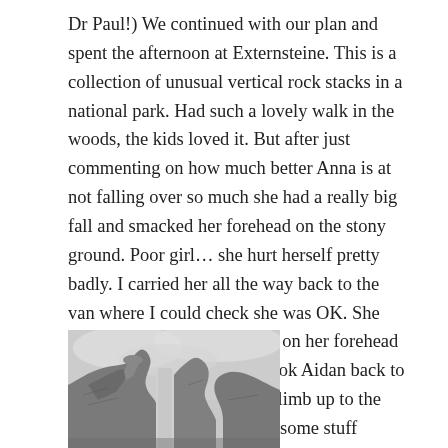Dr Paul!) We continued with our plan and spent the afternoon at Externsteine. This is a collection of unusual vertical rock stacks in a national park. Had such a lovely walk in the woods, the kids loved it. But after just commenting on how much better Anna is at not falling over so much she had a really big fall and smacked her forehead on the stony ground. Poor girl… she hurt herself pretty badly. I carried her all the way back to the van where I could check she was OK. She was fine but had a big bump on her forehead and some other cuts. Matt took Aidan back to the stones and they paid to climb up to the top. It's nice for Aidan to do some stuff without Anna sometimes.
[Figure (photo): Photograph of the Externsteine rock formations — large vertical sandstone rocks against a grey cloudy sky, with rock faces and gaps visible between the stacks.]